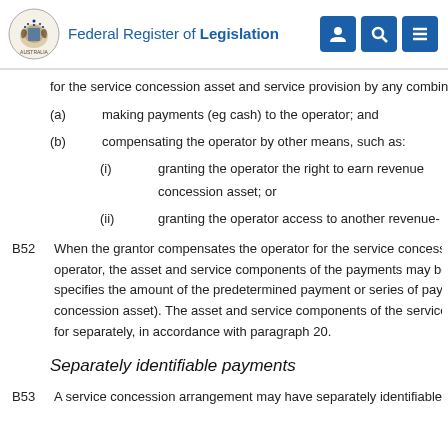Federal Register of Legislation
for the service concession asset and service provision by any combina
(a) making payments (eg cash) to the operator; and
(b) compensating the operator by other means, such as:
(i) granting the operator the right to earn revenue concession asset; or
(ii) granting the operator access to another revenue-
B52 When the grantor compensates the operator for the service concess operator, the asset and service components of the payments may be s specifies the amount of the predetermined payment or series of pay concession asset). The asset and service components of the service c for separately, in accordance with paragraph 20.
Separately identifiable payments
B53 A service concession arrangement may have separately identifiable